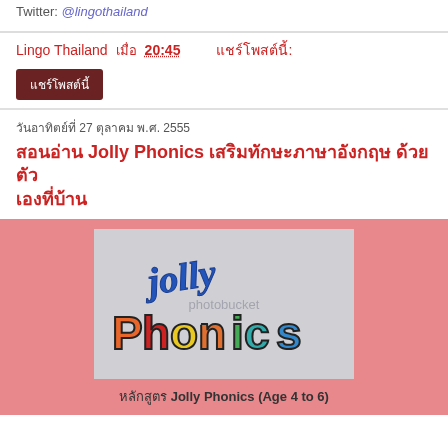Twitter: @lingothailand
Lingo Thailand เมื่อ 20:45   แชร์โพสต์นี้:
แชร์โพสต์นี้
วันอาทิตย์ที่ 27 ตุลาคม พ.ศ. 2555
สอนอ่าน Jolly Phonics เสริมทักษะภาษาอังกฤษ ด้วยตัว เองที่บ้าน
[Figure (photo): Jolly Phonics logo on light gray background with photobucket watermark. Colorful stylized text: 'Jolly' in blue cursive and 'Phonics' in multicolor block letters (orange, red, yellow, green, teal).]
หลักสูตร Jolly Phonics (Age 4 to 6)